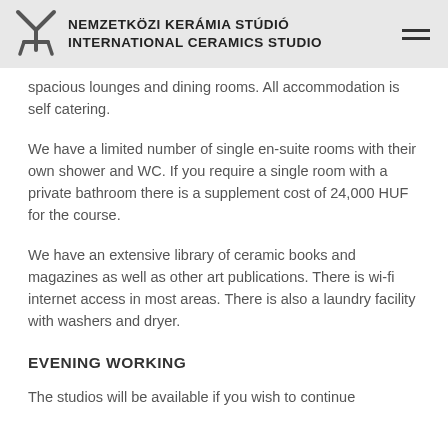NEMZETKÖZI KERÁMIA STÚDIÓ INTERNATIONAL CERAMICS STUDIO
spacious lounges and dining rooms. All accommodation is self catering.
We have a limited number of single en-suite rooms with their own shower and WC. If you require a single room with a private bathroom there is a supplement cost of 24,000 HUF for the course.
We have an extensive library of ceramic books and magazines as well as other art publications. There is wi-fi internet access in most areas. There is also a laundry facility with washers and dryer.
EVENING WORKING
The studios will be available if you wish to continue